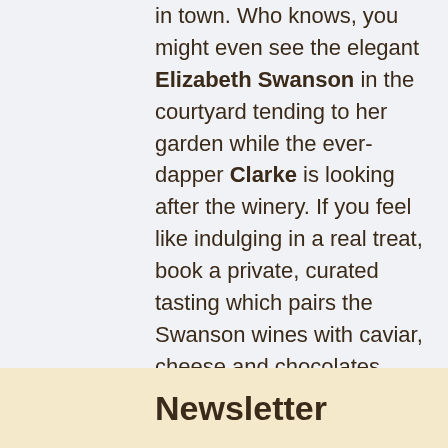in town. Who knows, you might even see the elegant Elizabeth Swanson in the courtyard tending to her garden while the ever-dapper Clarke is looking after the winery. If you feel like indulging in a real treat, book a private, curated tasting which pairs the Swanson wines with caviar, cheese and chocolates from around the world!
Cheers,
[Figure (photo): A signature image placeholder (broken image icon) inside a rectangular bordered box]
Newsletter